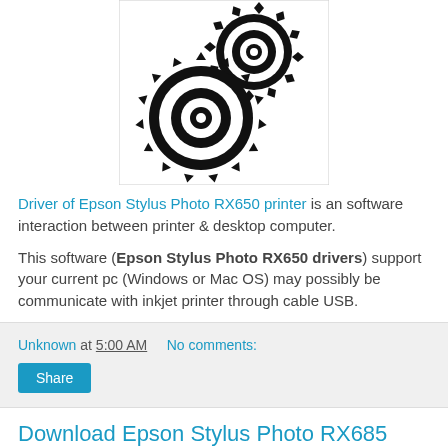[Figure (illustration): Two interlocking black gear icons on white background inside a bordered box]
Driver of Epson Stylus Photo RX650 printer is an software interaction between printer & desktop computer.
This software (Epson Stylus Photo RX650 drivers) support your current pc (Windows or Mac OS) may possibly be communicate with inkjet printer through cable USB.
Unknown at 5:00 AM   No comments:
Share
Download Epson Stylus Photo RX685